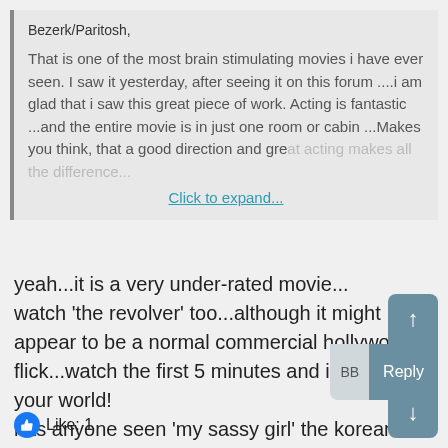Bezerk/Paritosh,
That is one of the most brain stimulating movies i have ever seen. I saw it yesterday, after seeing it on this forum ....i am glad that i saw this great piece of work. Acting is fantastic ...and the entire movie is in just one room or cabin ...Makes you think, that a good direction and great acting makes all the difference...
Click to expand...
yeah...it is a very under-rated movie...
watch 'the revolver' too...although it might appear to be a normal commercial hollywood flick...watch the first 5 minutes and it will rock your world!
has anyone seen 'my sassy girl' the korean movie?
Like: 1